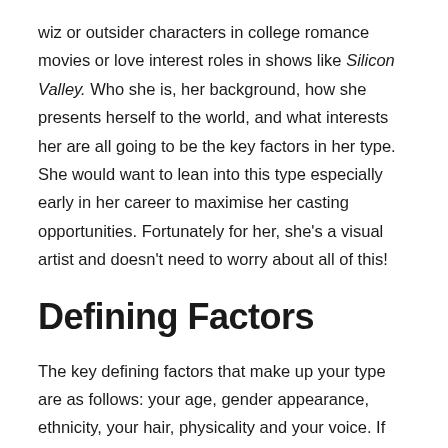wiz or outsider characters in college romance movies or love interest roles in shows like Silicon Valley. Who she is, her background, how she presents herself to the world, and what interests her are all going to be the key factors in her type. She would want to lean into this type especially early in her career to maximise her casting opportunities. Fortunately for her, she's a visual artist and doesn't need to worry about all of this!
Defining Factors
The key defining factors that make up your type are as follows: your age, gender appearance, ethnicity, your hair, physicality and your voice. If you are 6'3, ripped, covered in tattoos, compete in MMA competitions and know how to operate a bandsaw it is unlikely that you will be cast in any wilting flower tech-wiz roles. You're going to be going for